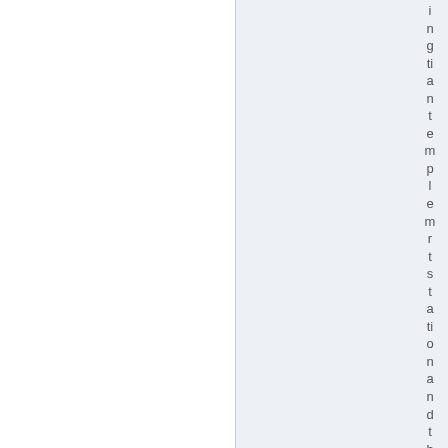ingtiantemplementstationandtheyde